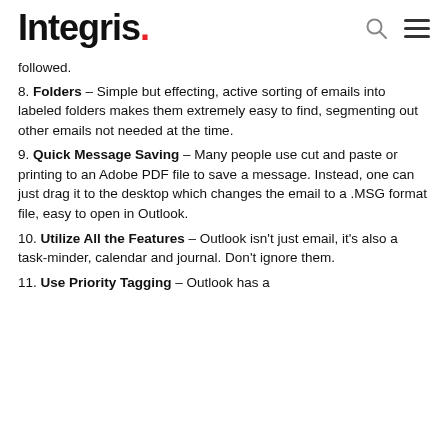Integris.
followed.
8. Folders – Simple but effecting, active sorting of emails into labeled folders makes them extremely easy to find, segmenting out other emails not needed at the time.
9. Quick Message Saving – Many people use cut and paste or printing to an Adobe PDF file to save a message. Instead, one can just drag it to the desktop which changes the email to a .MSG format file, easy to open in Outlook.
10. Utilize All the Features – Outlook isn't just email, it's also a task-minder, calendar and journal. Don't ignore them.
11. Use Priority Tagging – Outlook has a